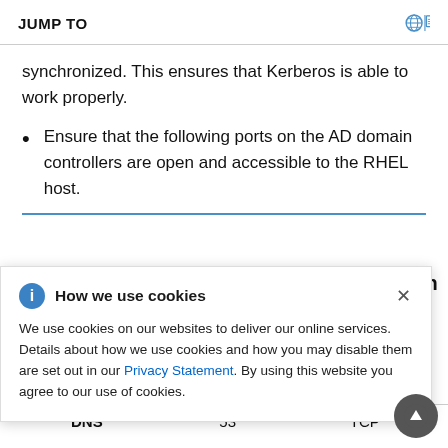JUMP TO
synchronized. This ensures that Kerberos is able to work properly.
Ensure that the following ports on the AD domain controllers are open and accessible to the RHEL host.
How we use cookies

We use cookies on our websites to deliver our online services. Details about how we use cookies and how you may disable them are set out in our Privacy Statement. By using this website you agree to our use of cookies.
| DNS | 53 | TCP |
| --- | --- | --- |